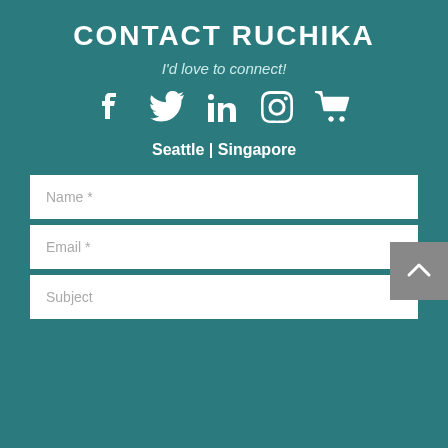CONTACT RUCHIKA
I'd love to connect!
[Figure (illustration): Row of social media icons: Facebook, Twitter, LinkedIn, Instagram, Shopping Cart — all white on teal background]
Seattle | Singapore
Name *
Email *
Subject
[Figure (illustration): Back to top arrow button — grey square with white upward chevron, overlapping the Email field]